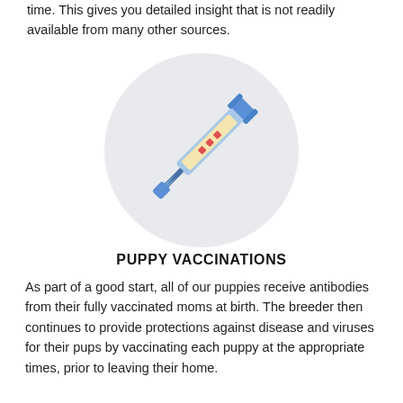time. This gives you detailed insight that is not readily available from many other sources.
[Figure (illustration): A syringe/vaccination needle illustration with a light blue barrel, yellow medication body with red dot markings, and blue plunger and tip, centered on a light gray circle background.]
PUPPY VACCINATIONS
As part of a good start, all of our puppies receive antibodies from their fully vaccinated moms at birth. The breeder then continues to provide protections against disease and viruses for their pups by vaccinating each puppy at the appropriate times, prior to leaving their home.